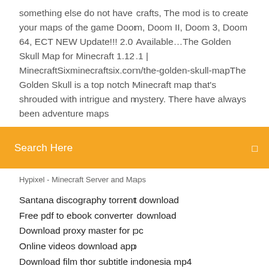something else do not have crafts, The mod is to create your maps of the game Doom, Doom II, Doom 3, Doom 64, ECT NEW Update!!! 2.0 Available…The Golden Skull Map for Minecraft 1.12.1 | MinecraftSixminecraftsix.com/the-golden-skull-mapThe Golden Skull is a top notch Minecraft map that's shrouded with intrigue and mystery. There have always been adventure maps
[Figure (screenshot): Orange/yellow search bar with text 'Search Here' and a small icon on the right]
Hypixel - Minecraft Server and Maps
Santana discography torrent download
Free pdf to ebook converter download
Download proxy master for pc
Online videos download app
Download film thor subtitle indonesia mp4
Behringer uca200 driver download
La lengua que heredamos 7th edition pdf download
Ios 6.1.6 .ipa game downloads